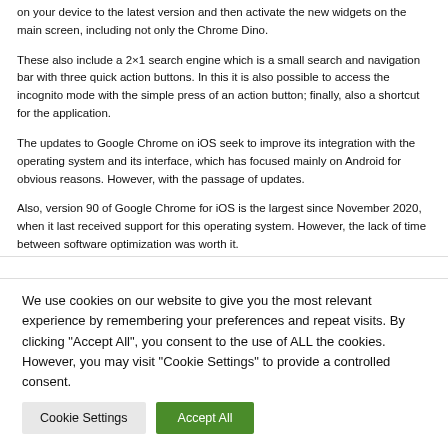on your device to the latest version and then activate the new widgets on the main screen, including not only the Chrome Dino.
These also include a 2×1 search engine which is a small search and navigation bar with three quick action buttons. In this it is also possible to access the incognito mode with the simple press of an action button; finally, also a shortcut for the application.
The updates to Google Chrome on iOS seek to improve its integration with the operating system and its interface, which has focused mainly on Android for obvious reasons. However, with the passage of updates.
Also, version 90 of Google Chrome for iOS is the largest since November 2020, when it last received support for this operating system. However, the lack of time between software optimization was worth it.
We use cookies on our website to give you the most relevant experience by remembering your preferences and repeat visits. By clicking "Accept All", you consent to the use of ALL the cookies. However, you may visit "Cookie Settings" to provide a controlled consent.